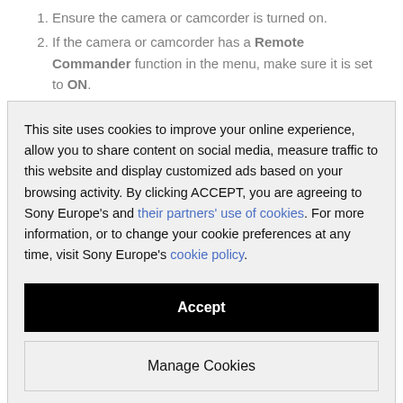1. Ensure the camera or camcorder is turned on.
2. If the camera or camcorder has a Remote Commander function in the menu, make sure it is set to ON.
This site uses cookies to improve your online experience, allow you to share content on social media, measure traffic to this website and display customized ads based on your browsing activity. By clicking ACCEPT, you are agreeing to Sony Europe's and their partners' use of cookies. For more information, or to change your cookie preferences at any time, visit Sony Europe's cookie policy.
Accept
Manage Cookies